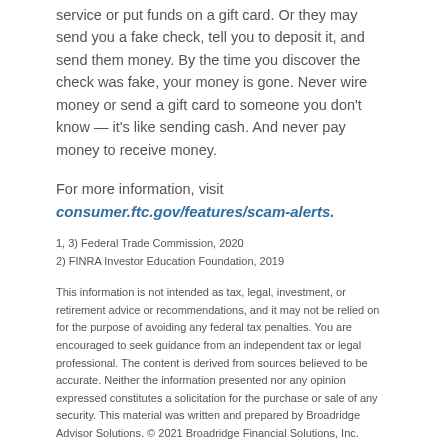service or put funds on a gift card. Or they may send you a fake check, tell you to deposit it, and send them money. By the time you discover the check was fake, your money is gone. Never wire money or send a gift card to someone you don't know — it's like sending cash. And never pay money to receive money.
For more information, visit
consumer.ftc.gov/features/scam-alerts.
1, 3) Federal Trade Commission, 2020
2) FINRA Investor Education Foundation, 2019
This information is not intended as tax, legal, investment, or retirement advice or recommendations, and it may not be relied on for the purpose of avoiding any federal tax penalties. You are encouraged to seek guidance from an independent tax or legal professional. The content is derived from sources believed to be accurate. Neither the information presented nor any opinion expressed constitutes a solicitation for the purchase or sale of any security. This material was written and prepared by Broadridge Advisor Solutions. © 2021 Broadridge Financial Solutions, Inc.